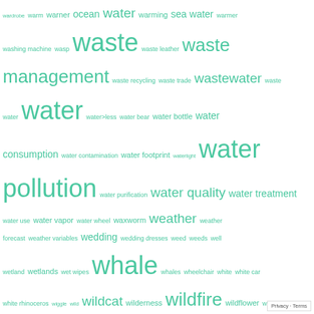[Figure (infographic): Tag cloud of environmental and nature-related terms in teal/green color, varying font sizes to indicate frequency or importance. Terms include: wardrobe, warm, warner, ocean, water, warming, sea water, warmer, washing machine, wasp, waste, waste leather, waste management, waste recycling, waste trade, wastewater, waste water, water, water>less, water bear, water bottle, water consumption, water contamination, water footprint, waterlight, water pollution, water purification, water quality, water treatment, water use, water vapor, water wheel, waxworm, weather, weather forecast, weather variables, wedding, wedding dresses, weed, weeds, well, wetland, wetlands, wet wipes, whale, whales, wheelchair, white, white car, white rhinoceros, wiggle, wild, wildcat, wilderness, wildfire, wildflower, wild flower, wildlife, wildlife services, wildlife trade, wind, wind energy, window, wind turbine, wind turbines, winter, wolf, wolves, wonder, wood, wood alternative, wood alternatives, woodlands, woods, wood substitutes, world, world cup, world hunger, worm, worms, wwf, yeast, yellow blob, yellowstone, yosemite, zebra finch, zero emission, zero plastic, zero waste, zero waste lifestyle, zombie]
Privacy · Terms